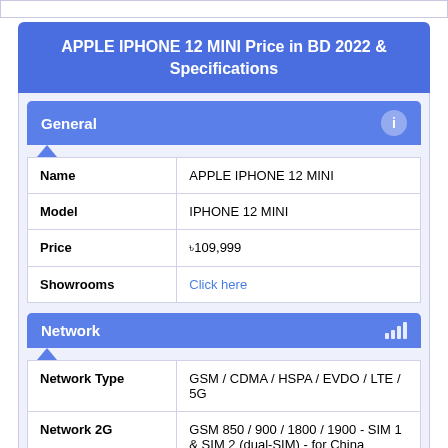APPLE IPHONE 12 MINI Price in BD 2022 & Specifications
General
|  |  |
| --- | --- |
| Name | APPLE IPHONE 12 MINI |
| Model | IPHONE 12 MINI |
| Price | ৳109,999 |
| Showrooms | Click here |
Network
|  |  |
| --- | --- |
| Network Type | GSM / CDMA / HSPA / EVDO / LTE / 5G |
| Network 2G | GSM 850 / 900 / 1800 / 1900 - SIM 1 & SIM 2 (dual-SIM) - for China |